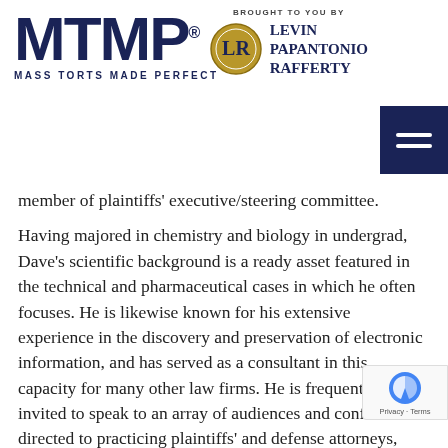[Figure (logo): MTMP Mass Torts Made Perfect logo in dark navy blue]
[Figure (logo): Levin Papantonio Rafferty law firm logo with circular emblem]
[Figure (other): Navy blue hamburger menu button with three white horizontal lines]
member of plaintiffs' executive/steering committee.
Having majored in chemistry and biology in undergrad, Dave's scientific background is a ready asset featured in the technical and pharmaceutical cases in which he often focuses. He is likewise known for his extensive experience in the discovery and preservation of electronic information, and has served as a consultant in this capacity for many other law firms. He is frequently invited to speak to an array of audiences and conferences–directed to practicing plaintiffs' and defense attorneys, judges, students, and professional organizations–on issues concerning trial practice, discovery, and complex and products liability litigation.